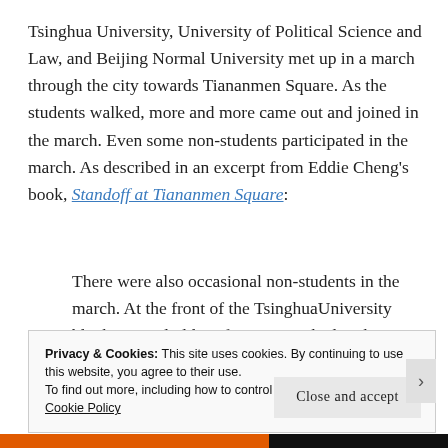Tsinghua University, University of Political Science and Law, and Beijing Normal University met up in a march through the city towards Tiananmen Square. As the students walked, more and more came out and joined in the march. Even some non-students participated in the march. As described in an excerpt from Eddie Cheng's book, Standoff at Tiananmen Square:
There were also occasional non-students in the march. At the front of the TsinghuaUniversity block, several old professors marched witha particular display of
Privacy & Cookies: This site uses cookies. By continuing to use this website, you agree to their use. To find out more, including how to control cookies, see here: Cookie Policy